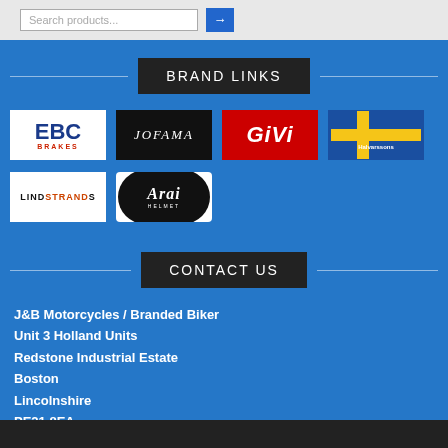BRAND LINKS
[Figure (logo): EBC Brakes logo - blue text on white background]
[Figure (logo): Jofama logo - white italic text on black background]
[Figure (logo): GIVI logo - white bold italic text on red background]
[Figure (logo): Halvarssons logo - blue and yellow Swedish flag motif on blue background]
[Figure (logo): Lindstrands logo - black and orange text on white background]
[Figure (logo): Arai Helmet logo - white script on black oval]
CONTACT US
J&B Motorcycles / Branded Biker
Unit 3 Holland Units
Redstone Industrial Estate
Boston
Lincolnshire
PE21 8EA
Tel: (01205) 356767
Find Us